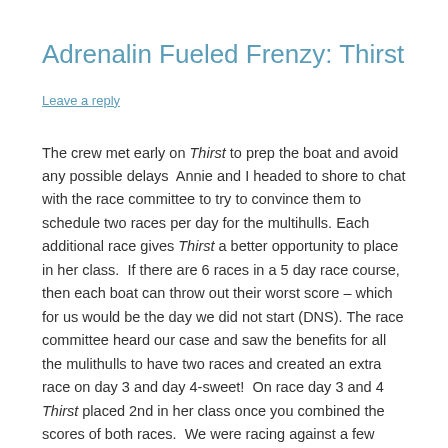Adrenalin Fueled Frenzy: Thirst
Leave a reply
The crew met early on Thirst to prep the boat and avoid any possible delays  Annie and I headed to shore to chat with the race committee to try to convince them to schedule two races per day for the multihulls. Each additional race gives Thirst a better opportunity to place in her class.  If there are 6 races in a 5 day race course, then each boat can throw out their worst score – which for us would be the day we did not start (DNS). The race committee heard our case and saw the benefits for all the mulithulls to have two races and created an extra race on day 3 and day 4-sweet!  On race day 3 and 4 Thirst placed 2nd in her class once you combined the scores of both races.  We were racing against a few other gun boats, Momentum, and a magnificent HH66 R-Six which